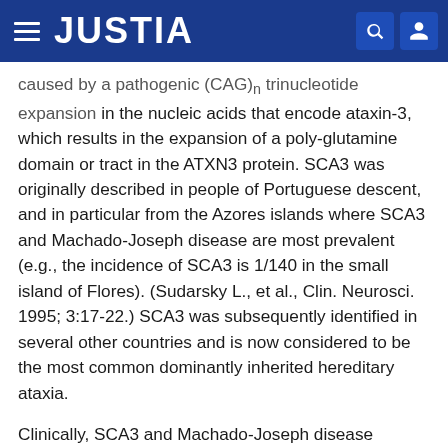JUSTIA
caused by a pathogenic (CAG)n trinucleotide expansion in the nucleic acids that encode ataxin-3, which results in the expansion of a poly-glutamine domain or tract in the ATXN3 protein. SCA3 was originally described in people of Portuguese descent, and in particular from the Azores islands where SCA3 and Machado-Joseph disease are most prevalent (e.g., the incidence of SCA3 is 1/140 in the small island of Flores). (Sudarsky L., et al., Clin. Neurosci. 1995; 3:17-22.) SCA3 was subsequently identified in several other countries and is now considered to be the most common dominantly inherited hereditary ataxia.
Clinically, SCA3 and Machado-Joseph disease present with progressive gait and limb ataxia, dysarthria and a variable combination of other symptoms including pyramidal signs, dystonia, lethargy, oculomotor disorders, faciolingual weakness, neuropathy